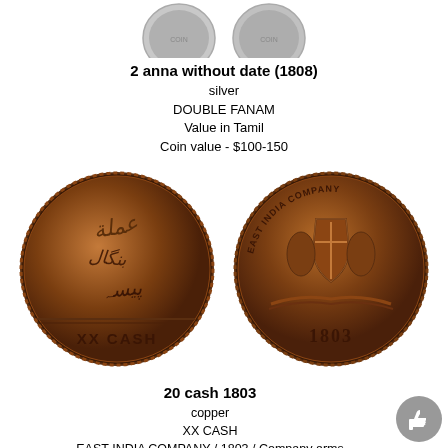[Figure (photo): Two silver coins at the top, partially cropped, showing both sides of a 2 anna coin without date (1808)]
2 anna without date (1808)
silver
DOUBLE FANAM
Value in Tamil
Coin value - $100-150
[Figure (photo): Two copper coins: left coin shows Arabic/Urdu script and 'XX CASH', right coin shows East India Company arms and date '1803']
20 cash 1803
copper
XX CASH
EAST INDIA COMPANY / 1803 / Company arms
Coin value - $15-20